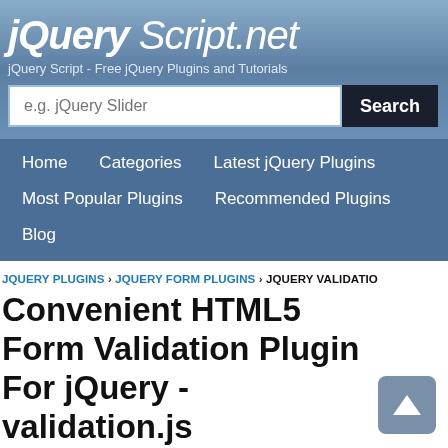jQuery Script.net
jQuery Script - Free jQuery Plugins and Tutorials
[Figure (screenshot): Search bar with placeholder text 'e.g. jQuery Slider' and a dark 'Search' button]
Home
Categories
Latest jQuery Plugins
Most Popular Plugins
Recommended Plugins
Blog
JQUERY PLUGINS › JQUERY FORM PLUGINS › JQUERY VALIDATIO
Convenient HTML5 Form Validation Plugin For jQuery - validation.js